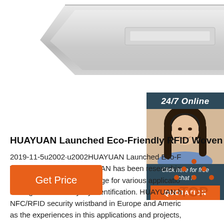[Figure (photo): Product photo of a silver/metallic RFID woven wristband against a white background, partially cropped at top]
[Figure (infographic): 24/7 Online support widget showing a woman with a headset smiling, with text 'Click here for free chat!' and an orange QUOTATION button, dark teal background]
HUAYUAN Launched Eco-Friendly RFID Woven Wr
2019-11-5u2002·u2002HUAYUAN Launched Eco-F Woven Wristbands HUAYUAN has been researchin various wearable RFID badge for various applicatio management and loyalty identification. HUAYUAN h NFC/RFID security wristband in Europe and Americ as the experiences in this applications and projects, wearable RFID …
[Figure (other): Orange 'Get Price' button]
[Figure (other): TOP navigation icon with orange dots above the word TOP in orange]